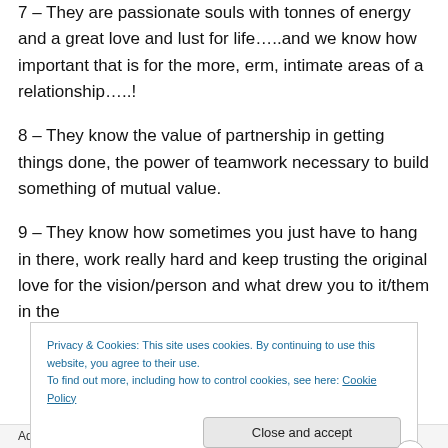7 – They are passionate souls with tonnes of energy and a great love and lust for life…..and we know how important that is for the more, erm, intimate areas of a relationship…..!
8 – They know the value of partnership in getting things done, the power of teamwork necessary to build something of mutual value.
9 – They know how sometimes you just have to hang in there, work really hard and keep trusting the original love for the vision/person and what drew you to it/them in the
Privacy & Cookies: This site uses cookies. By continuing to use this website, you agree to their use.
To find out more, including how to control cookies, see here: Cookie Policy
Close and accept
Advertisements